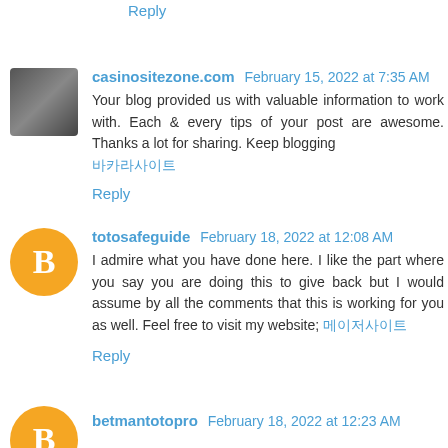Reply
casinositezone.com  February 15, 2022 at 7:35 AM
Your blog provided us with valuable information to work with. Each & every tips of your post are awesome. Thanks a lot for sharing. Keep blogging 바카라사이트
Reply
totosafeguide  February 18, 2022 at 12:08 AM
I admire what you have done here. I like the part where you say you are doing this to give back but I would assume by all the comments that this is working for you as well. Feel free to visit my website; 메이저사이트
Reply
betmantotopro  February 18, 2022 at 12:23 AM